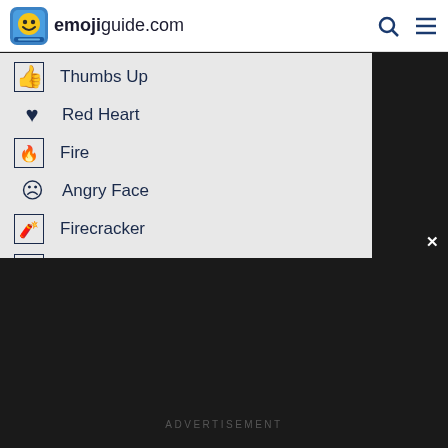emojiguide.com
Thumbs Up
Red Heart
Fire
Angry Face
Firecracker
Person Shrugging
Bomb
Pleading Face
Weary Face
Moai
ADVERTISEMENT